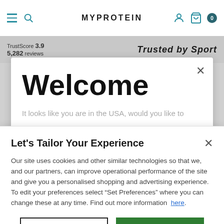MYPROTEIN
TrustScore 3.9 | 5,282 reviews | Trusted by Sport
Welcome
It looks like you are in the USA, would you like to
Let's Tailor Your Experience
Our site uses cookies and other similar technologies so that we, and our partners, can improve operational performance of the site and give you a personalised shopping and advertising experience. To edit your preferences select "Set Preferences" where you can change these at any time. Find out more information here.
Set Preferences
That's OK